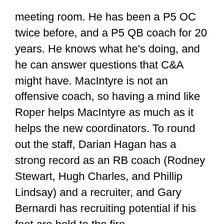meeting room. He has been a P5 OC twice before, and a P5 QB coach for 20 years. He knows what he's doing, and he can answer questions that C&A might have. MacIntyre is not an offensive coach, so having a mind like Roper helps MacIntyre as much as it helps the new coordinators. To round out the staff, Darian Hagan has a strong record as an RB coach (Rodney Stewart, Hugh Charles, and Phillip Lindsay) and a recruiter, and Gary Bernardi has recruiting potential if his feet are held to the fire.
There are still one or two more moves that the Buffs may make in the next year, but for the most part, this blueprint is final. The staff is well-rounded, competent, and most importantly for MacIntyre, cooperative. No egos in here. I think this will pay off big dividends in 2018.